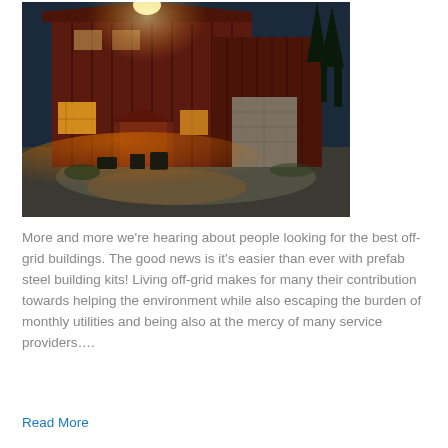[Figure (photo): A large dark red/brown metal barn-style building lit up at night with warm orange-yellow lighting from ground-level fixtures and interior windows. Trees are visible in the dark blue background. A gravel driveway and outdoor seating area are in the foreground.]
More and more we're hearing about people looking for the best off-grid buildings. The good news is it's easier than ever with prefab steel building kits! Living off-grid makes for many their contribution towards helping the environment while also escaping the burden of monthly utilities and being also at the mercy of many service providers….
Read More